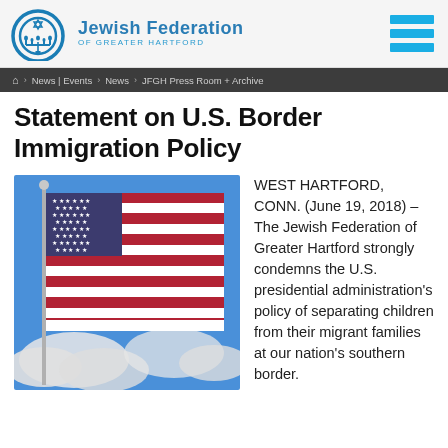[Figure (logo): Jewish Federation of Greater Hartford logo with circular menorah emblem and organization name in blue text]
News | Events  News  JFGH Press Room + Archive
Statement on U.S. Border Immigration Policy
[Figure (photo): American flag waving against a blue sky with clouds]
WEST HARTFORD, CONN. (June 19, 2018) – The Jewish Federation of Greater Hartford strongly condemns the U.S. presidential administration's policy of separating children from their migrant families at our nation's southern border.